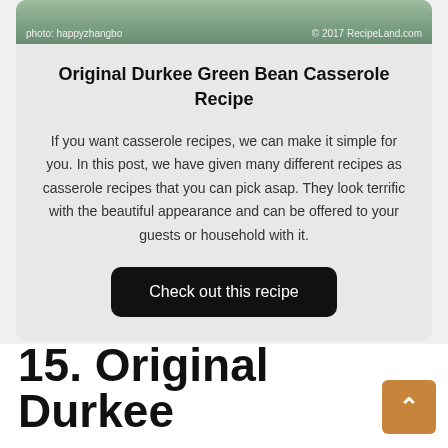[Figure (photo): Top portion of a food photo with photo credits: 'photo: happyzhangbo' and '© 2017 RecipeLand.com']
Original Durkee Green Bean Casserole Recipe
If you want casserole recipes, we can make it simple for you. In this post, we have given many different recipes as casserole recipes that you can pick asap. They look terrific with the beautiful appearance and can be offered to your guests or household with it.
Check out this recipe
15. Original Durkee